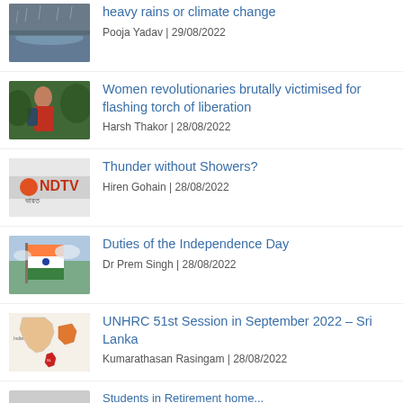heavy rains or climate change
Pooja Yadav | 29/08/2022
Women revolutionaries brutally victimised for flashing torch of liberation
Harsh Thakor | 28/08/2022
Thunder without Showers?
Hiren Gohain | 28/08/2022
Duties of the Independence Day
Dr Prem Singh | 28/08/2022
UNHRC 51st Session in September 2022 – Sri Lanka
Kumarathasan Rasingam | 28/08/2022
Students in Retirement home...